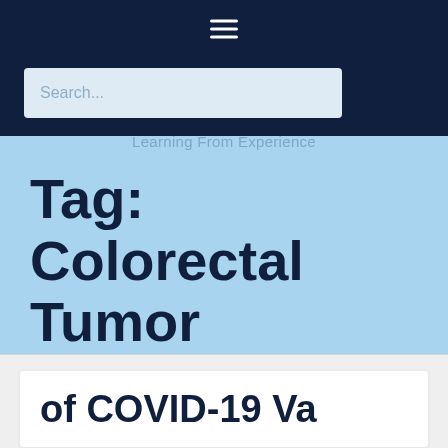≡
Search...
Learning From Experience
Tag: Colorectal Tumor
of COVID-19 Va